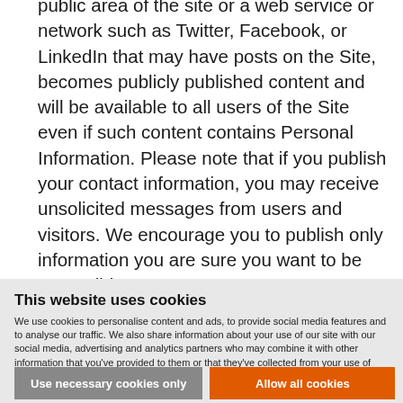public area of the site or a web service or network such as Twitter, Facebook, or LinkedIn that may have posts on the Site, becomes publicly published content and will be available to all users of the Site even if such content contains Personal Information. Please note that if you publish your contact information, you may receive unsolicited messages from users and visitors. We encourage you to publish only information you are sure you want to be accessible to anyone. Currently, we do not require you to provide Personal Information in order to have access to information available on our Site. However, in order to provide you with certain services given through the Site, you may
This website uses cookies
We use cookies to personalise content and ads, to provide social media features and to analyse our traffic. We also share information about your use of our site with our social media, advertising and analytics partners who may combine it with other information that you've provided to them or that they've collected from your use of their services.
Use necessary cookies only
Allow all cookies